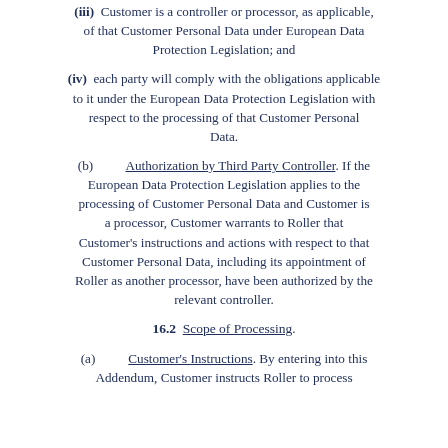(iii) Customer is a controller or processor, as applicable, of that Customer Personal Data under European Data Protection Legislation; and
(iv) each party will comply with the obligations applicable to it under the European Data Protection Legislation with respect to the processing of that Customer Personal Data.
(b) Authorization by Third Party Controller. If the European Data Protection Legislation applies to the processing of Customer Personal Data and Customer is a processor, Customer warrants to Roller that Customer's instructions and actions with respect to that Customer Personal Data, including its appointment of Roller as another processor, have been authorized by the relevant controller.
16.2 Scope of Processing.
(a) Customer's Instructions. By entering into this Addendum, Customer instructs Roller to process